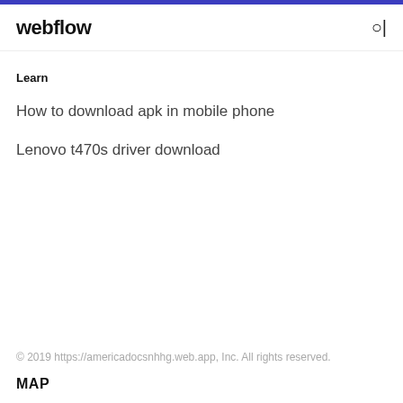webflow
Learn
How to download apk in mobile phone
Lenovo t470s driver download
© 2019 https://americadocsnhhg.web.app, Inc. All rights reserved.
MAP